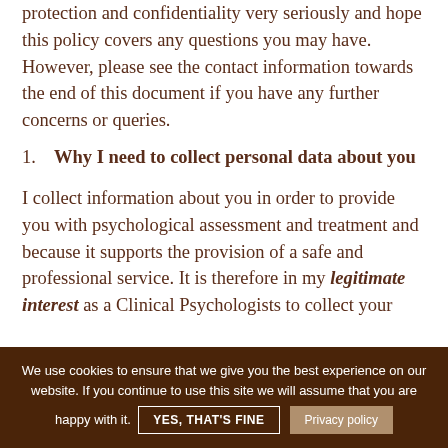protection and confidentiality very seriously and hope this policy covers any questions you may have. However, please see the contact information towards the end of this document if you have any further concerns or queries.
1. Why I need to collect personal data about you
I collect information about you in order to provide you with psychological assessment and treatment and because it supports the provision of a safe and professional service. It is therefore in my legitimate interest as a Clinical Psychologists to collect your
We use cookies to ensure that we give you the best experience on our website. If you continue to use this site we will assume that you are happy with it. YES, THAT'S FINE Privacy policy